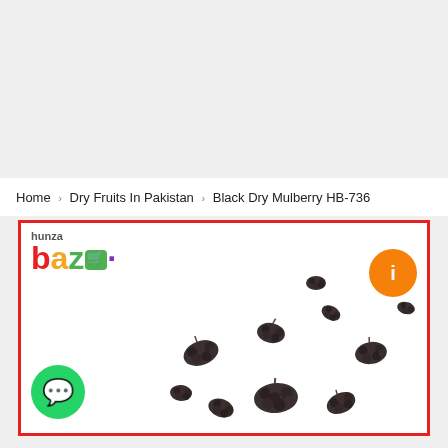Home > Dry Fruits In Pakistan > Black Dry Mulberry HB-736
[Figure (photo): Hunza Bazar product card showing dried black mulberries scattered on white background, with Hunza Bazar logo top-left, WhatsApp green button bottom-left, orange info button top-right, inside a red border frame.]